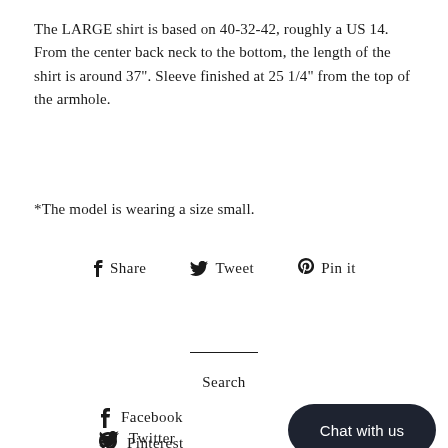The LARGE shirt is based on 40-32-42, roughly a US 14. From the center back neck to the bottom, the length of the shirt is around 37". Sleeve finished at 25 1/4" from the top of the armhole.
*The model is wearing a size small.
f Share   Tweet   Pin it
Search
f Facebook
Twitter
Pinterest
Chat with us